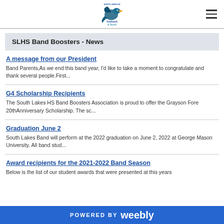[Figure (logo): South Lakes HS Seahawk Bands logo with a seahawk illustration and text]
SLHS Band Boosters - News
A message from our President
Band Parents,As we end this band year, I'd like to take a moment to congratulate and thank several people.First...
G4 Scholarship Recipients
The South Lakes HS Band Boosters Association is proud to offer the Grayson Fore 20thAnniversary Scholarship. The sc...
Graduation June 2
South Lakes Band will perform at the 2022 graduation on June 2, 2022 at George Mason University. All band stud...
Award recipients for the 2021-2022 Band Season
Below is the list of our student awards that were presented at this years
POWERED BY weebly